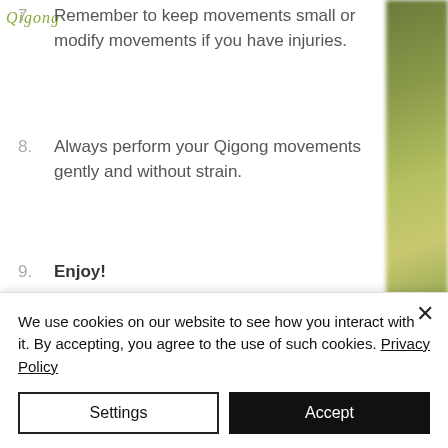[Figure (logo): Qigong cursive logo text in olive/green color]
7. Remember to keep movements small or modify movements if you have injuries.
8. Always perform your Qigong movements gently and without strain.
9. Enjoy!
[Figure (photo): Blurred outdoor photo with dark greens and grays, appears to be a path or outdoor scene]
[Figure (photo): Blurred green bokeh background on right side]
We use cookies on our website to see how you interact with it. By accepting, you agree to the use of such cookies. Privacy Policy
Settings
Accept